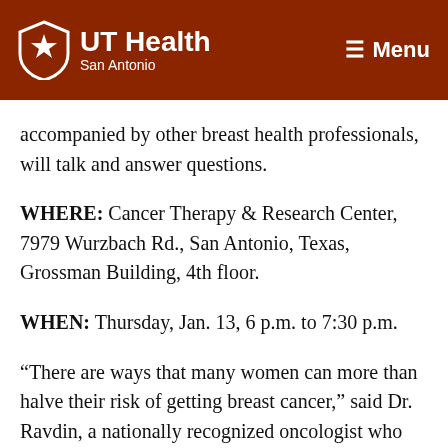UT Health San Antonio | Menu
accompanied by other breast health professionals, will talk and answer questions.
WHERE: Cancer Therapy & Research Center, 7979 Wurzbach Rd., San Antonio, Texas, Grossman Building, 4th floor.
WHEN: Thursday, Jan. 13, 6 p.m. to 7:30 p.m.
“There are ways that many women can more than halve their risk of getting breast cancer,” said Dr. Ravdin, a nationally recognized oncologist who contributed to recent important findings on combined hormone replacement therapy in the